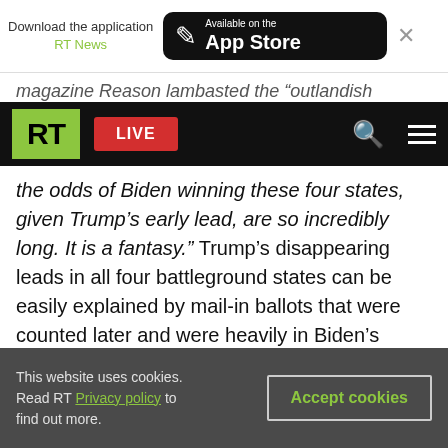Download the application RT News | Available on the App Store
magazine Reason lambasted the "outlandish
RT LIVE
the odds of Biden winning these four states, given Trump's early lead, are so incredibly long. It is a fantasy.” Trump’s disappearing leads in all four battleground states can be easily explained by mail-in ballots that were counted later and were heavily in Biden’s favor, Reason’s David Post argued.
For now, the methodology used by Cicchetti remains a mystery. His full declaration is expected to be filed in an upcoming motion and is not yet
This website uses cookies. Read RT Privacy policy to find out more.